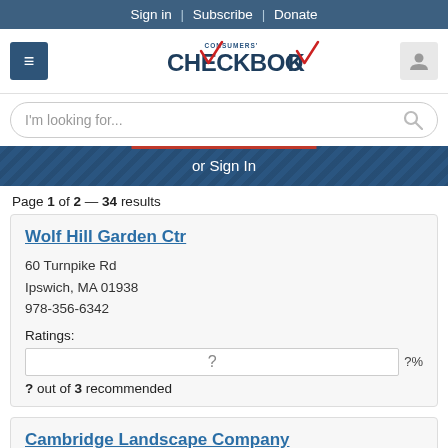Sign in | Subscribe | Donate
[Figure (logo): Consumers' Checkbook logo with red checkmarks]
I'm looking for...
or Sign In
Page 1 of 2 — 34 results
Wolf Hill Garden Ctr
60 Turnpike Rd
Ipswich, MA 01938
978-356-6342
Ratings:
? out of 3 recommended
Cambridge Landscape Company
100 Smith Pl
Cambridge, MA 02138